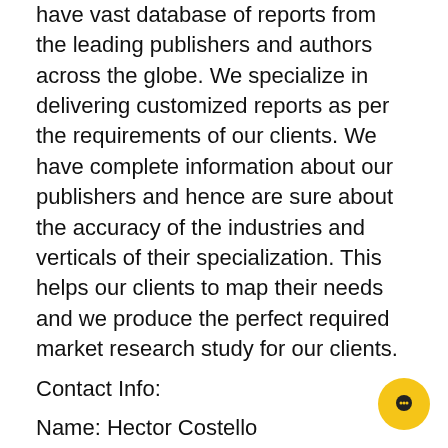have vast database of reports from the leading publishers and authors across the globe. We specialize in delivering customized reports as per the requirements of our clients. We have complete information about our publishers and hence are sure about the accuracy of the industries and verticals of their specialization. This helps our clients to map their needs and we produce the perfect required market research study for our clients.
Contact Info:
Name: Hector Costello
Email: Send Email
Organization: Orbis Research
Address: 4144N Central Expressway, Suite 600, Dallas, Texas - 75204, U.S.A.
Phone: +1 (972)-362-8199